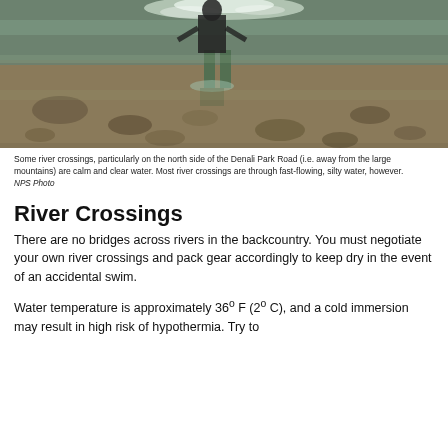[Figure (photo): A person wading through a clear, shallow river with a rocky bottom in Denali backcountry. The water is calm and the riverbed shows rocks and pebbles.]
Some river crossings, particularly on the north side of the Denali Park Road (i.e. away from the large mountains) are calm and clear water. Most river crossings are through fast-flowing, silty water, however.
NPS Photo
River Crossings
There are no bridges across rivers in the backcountry. You must negotiate your own river crossings and pack gear accordingly to keep dry in the event of an accidental swim.
Water temperature is approximately 36º F (2º C), and a cold immersion may result in high risk of hypothermia. Try to